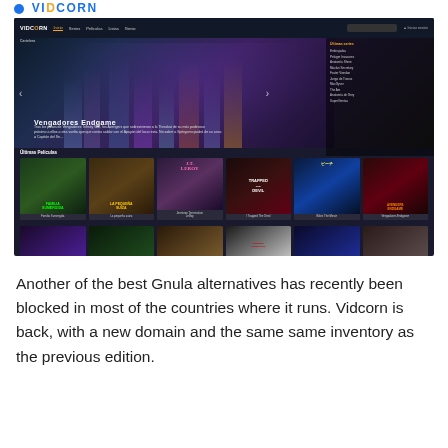[Figure (screenshot): Screenshot of Vidcorn streaming website showing navigation bar, hero banner with Vengadores Endgame, sidebar with Últimas series list, Últimas Películas movie grid with titles including Familia Sumergida, La pequeña suiza, Jenniean Termination LeBoy, I Trapped The Devil, Bikini The Movie, Vengadores Endgame, and a second row of movie thumbnails.]
Another of the best Gnula alternatives has recently been blocked in most of the countries where it runs. Vidcorn is back, with a new domain and the same same inventory as the previous edition.